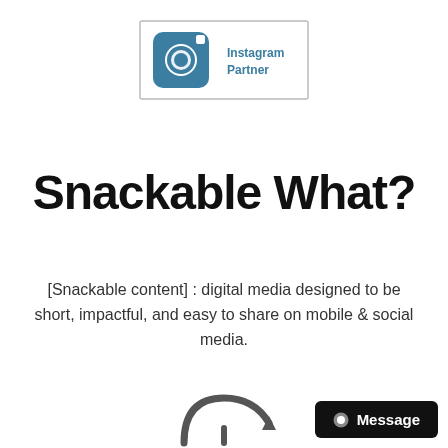[Figure (logo): Instagram Partner badge logo: blue Instagram camera icon on the left with the text 'Instagram Partner' on the right, inside a rectangular border]
Snackable What?
[Snackable content] : digital media designed to be short, impactful, and easy to share on mobile & social media.
[Figure (illustration): Partially visible circular arrow/refresh icon at the bottom center of the page]
[Figure (other): Dark message button with chat bubble icon and text 'Message' in bottom right corner]